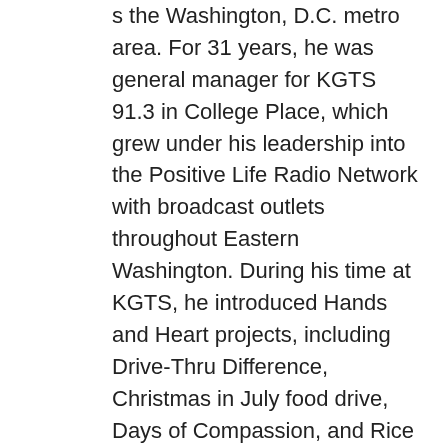s the Washington, D.C. metro area. For 31 years, he was general manager for KGTS 91.3 in College Place, which grew under his leadership into the Positive Life Radio Network with broadcast outlets throughout Eastern Washington. During his time at KGTS, he introduced Hands and Heart projects, including Drive-Thru Difference, Christmas in July food drive, Days of Compassion, and Rice for Cambodia. He expanded KGTS community outreach through concerts, and marriage and family conferences. He helped with the development and start-up of KTSY in Boise, Idaho, and worked with the Adventist Radio Network team to produce live radio coverage of three General Conference sessions. Krueger has served as president and vice president of the Society of Adventist